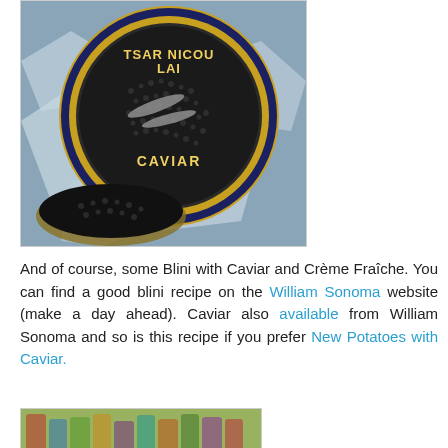[Figure (photo): A tin of Tsar Nicoulai Caviar on crushed ice, with an open tin showing black caviar below.]
And of course, some Blini with Caviar and Crème Fraîche. You can find a good blini recipe on the William Sonoma website (make a day ahead). Caviar also available from William Sonoma and so is this recipe if you prefer New Potatoes with Caviar.
[Figure (photo): Colorful glass bottles or decorative items arranged together.]